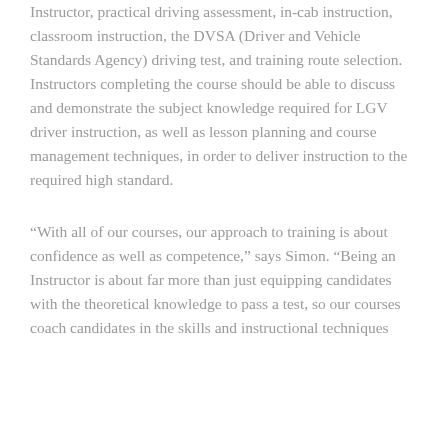Instructor, practical driving assessment, in-cab instruction, classroom instruction, the DVSA (Driver and Vehicle Standards Agency) driving test, and training route selection. Instructors completing the course should be able to discuss and demonstrate the subject knowledge required for LGV driver instruction, as well as lesson planning and course management techniques, in order to deliver instruction to the required high standard.
“With all of our courses, our approach to training is about confidence as well as competence,” says Simon. “Being an Instructor is about far more than just equipping candidates with the theoretical knowledge to pass a test, so our courses coach candidates in the skills and instructional techniques